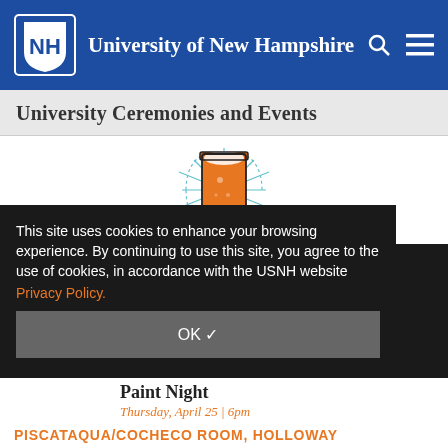University of New Hampshire
University Ceremonies and Events
[Figure (illustration): Illustration of a beer glass with radiating lines suggesting excitement or celebration, drawn in orange and teal/blue on white background]
Learn all things beer as we celebrate your upcoming ... will share tips for ... you sample ... ave with their own
This site uses cookies to enhance your browsing experience. By continuing to use this site, you agree to the use of cookies, in accordance with the USNH website Privacy Policy.
OK ✓
Paint Night
Thursday, April 25 | 6pm
PISCATAQUA/COCHECO ROOM, HOLLOWAY